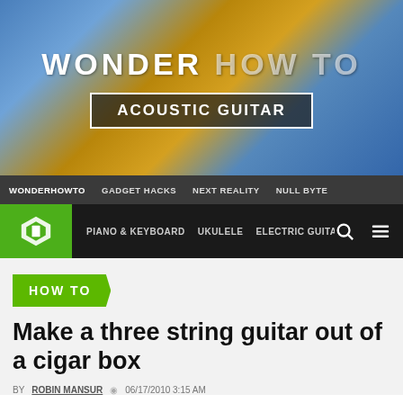[Figure (screenshot): WonderHowTo website header with blue/orange gradient background showing WONDER HOW TO logo and ACOUSTIC GUITAR button]
WONDERHOWTO  GADGET HACKS  NEXT REALITY  NULL BYTE
PIANO & KEYBOARD  UKULELE  ELECTRIC GUITAR
HOW TO
Make a three string guitar out of a cigar box
BY ROBIN MANSUR  06/17/2010 3:15 AM